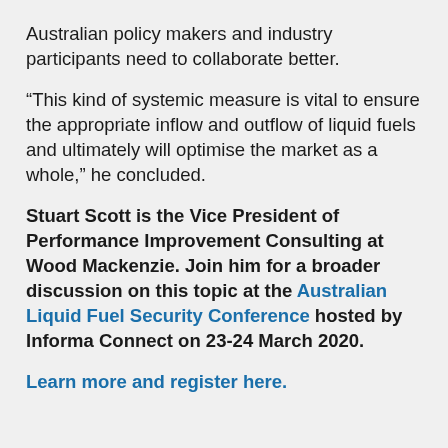Australian policy makers and industry participants need to collaborate better.
“This kind of systemic measure is vital to ensure the appropriate inflow and outflow of liquid fuels and ultimately will optimise the market as a whole,” he concluded.
Stuart Scott is the Vice President of Performance Improvement Consulting at Wood Mackenzie. Join him for a broader discussion on this topic at the Australian Liquid Fuel Security Conference hosted by Informa Connect on 23-24 March 2020.
Learn more and register here.